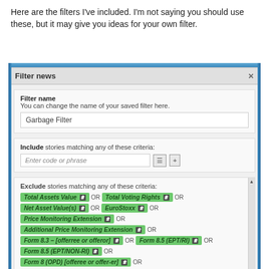Here are the filters I've included. I'm not saying you should use these, but it may give you ideas for your own filter.
[Figure (screenshot): Screenshot of a 'Filter news' dialog box showing filter name 'Garbage Filter', an Include section with 'Enter code or phrase' input, and an Exclude section listing filter tags: Total Assets Value OR Total Voting Rights OR, Net Asset Value(s) OR EuroStoxx OR, Price Monitoring Extension OR, Additional Price Monitoring Extension OR, Form 8.3 – [offerree or offeror] OR Form 8.5 (EPT/RI) OR, Form 8.5 (EPT/NON-RI) OR, Form 8 (OPD) [offeree or offer-er] OR]